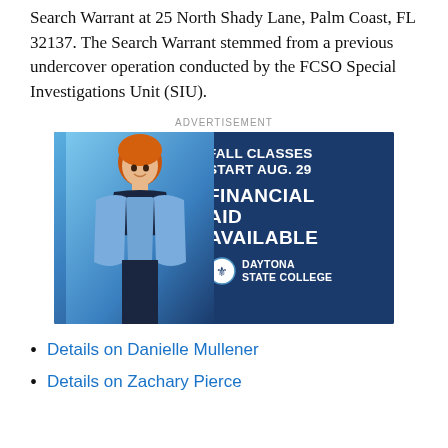Search Warrant at 25 North Shady Lane, Palm Coast, FL 32137. The Search Warrant stemmed from a previous undercover operation conducted by the FCSO Special Investigations Unit (SIU).
[Figure (photo): Advertisement for Daytona State College showing a young woman with red hair wearing a denim jacket, with text: FALL CLASSES START AUG. 29, FINANCIAL AID AVAILABLE, Daytona State College logo.]
Details on Danielle Mullener
Details on Zachary Pierce